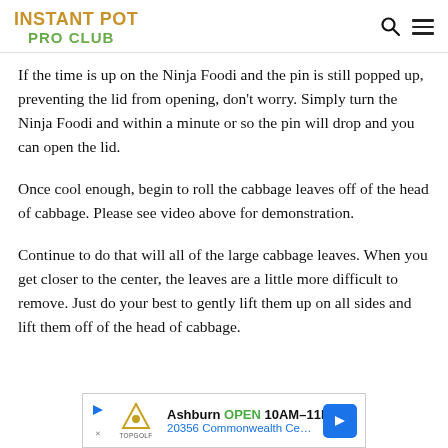INSTANT POT PRO CLUB
If the time is up on the Ninja Foodi and the pin is still popped up, preventing the lid from opening, don't worry. Simply turn the Ninja Foodi and within a minute or so the pin will drop and you can open the lid.
Once cool enough, begin to roll the cabbage leaves off of the head of cabbage. Please see video above for demonstration.
Continue to do that will all of the large cabbage leaves. When you get closer to the center, the leaves are a little more difficult to remove. Just do your best to gently lift them up on all sides and lift them off of the head of cabbage.
[Figure (other): Advertisement banner for Topgolf Ashburn showing OPEN 10AM-11PM and address 20356 Commonwealth Center with a blue navigation arrow icon]